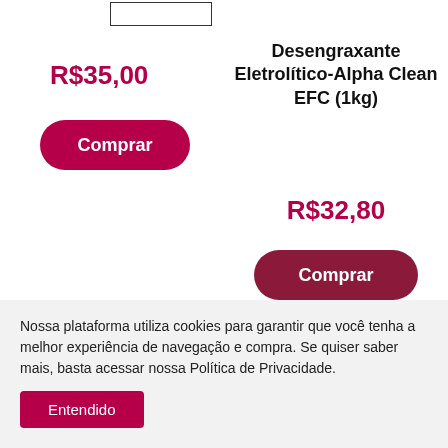[Figure (other): Empty input/search box at top right of left product column]
R$35,00
Comprar
Desengraxante Eletrolítico-Alpha Clean EFC (1kg)
R$32,80
Comprar
Nossa plataforma utiliza cookies para garantir que você tenha a melhor experiência de navegação e compra. Se quiser saber mais, basta acessar nossa Política de Privacidade.
Entendido